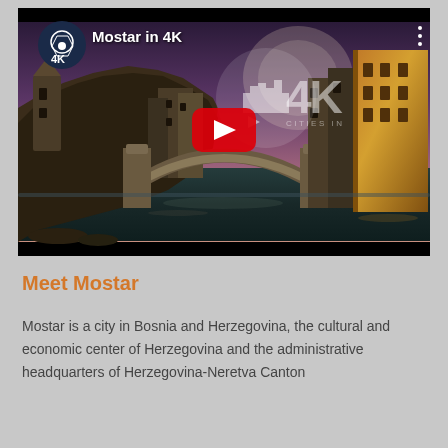[Figure (screenshot): YouTube video thumbnail showing Mostar city with the Old Bridge (Stari Most) over the Neretva River at dusk/night, with dramatic lighting. The video is titled 'Mostar in 4K' with a 4K Cities channel logo in the top left and a red YouTube play button in the center.]
Meet Mostar
Mostar is a city in Bosnia and Herzegovina, the cultural and economic center of Herzegovina and the administrative headquarters of Herzegovina-Neretva Canton